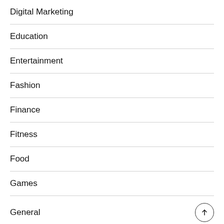Digital Marketing
Education
Entertainment
Fashion
Finance
Fitness
Food
Games
General